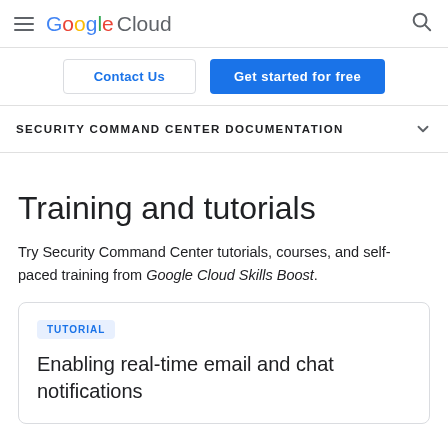Google Cloud
Contact Us | Get started for free
SECURITY COMMAND CENTER DOCUMENTATION
Training and tutorials
Try Security Command Center tutorials, courses, and self-paced training from Google Cloud Skills Boost.
TUTORIAL
Enabling real-time email and chat notifications